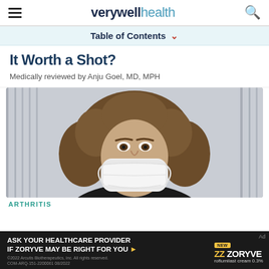verywell health
Table of Contents
It Worth a Shot?
Medically reviewed by Anju Goel, MD, MPH
[Figure (photo): Woman with curly hair wearing a white face mask, photographed against a blurred metal fence background]
ARTHRITIS
ASK YOUR HEALTHCARE PROVIDER IF ZORYVE MAY BE RIGHT FOR YOU ▶ ZORYVE roflumilast cream 0.3%